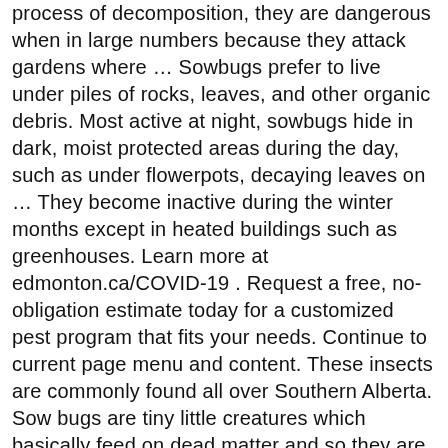process of decomposition, they are dangerous when in large numbers because they attack gardens where … Sowbugs prefer to live under piles of rocks, leaves, and other organic debris. Most active at night, sowbugs hide in dark, moist protected areas during the day, such as under flowerpots, decaying leaves on … They become inactive during the winter months except in heated buildings such as greenhouses. Learn more at edmonton.ca/COVID-19 . Request a free, no-obligation estimate today for a customized pest program that fits your needs. Continue to current page menu and content. These insects are commonly found all over Southern Alberta. Sow bugs are tiny little creatures which basically feed on dead matter and so they are considered important. They often gather in large numbers, which can be alarming. Entries are listed below in alphabetical order (A-to-Z). We offer services to commercial and residential areas. © 2020 City of Edmonton. Professional Pest Extermination Company in St. Albert, Alberta There are quite a few businesses that are providing pest control services in Edmonton, Alberta. On the other hand, the pest removal services aim to get rid of mice, cockroaches, Sow bugs, bed bugs, flies, spiders, ants and other pests for your business or home property. Sowbugs, also called isopods or woodlice, are